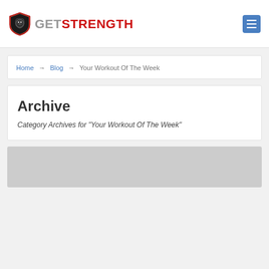GETSTRENGTH logo and menu
Home → Blog → Your Workout Of The Week
Archive
Category Archives for "Your Workout Of The Week"
[Figure (photo): Gray placeholder image block at the bottom of the page]